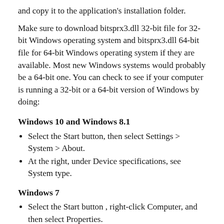and copy it to the application's installation folder.
Make sure to download bitsprx3.dll 32-bit file for 32-bit Windows operating system and bitsprx3.dll 64-bit file for 64-bit Windows operating system if they are available. Most new Windows systems would probably be a 64-bit one. You can check to see if your computer is running a 32-bit or a 64-bit version of Windows by doing:
Windows 10 and Windows 8.1
Select the Start button, then select Settings > System > About.
At the right, under Device specifications, see System type.
Windows 7
Select the Start button , right-click Computer, and then select Properties.
Under System, see the system type.
After you are done with the main installation instructions...